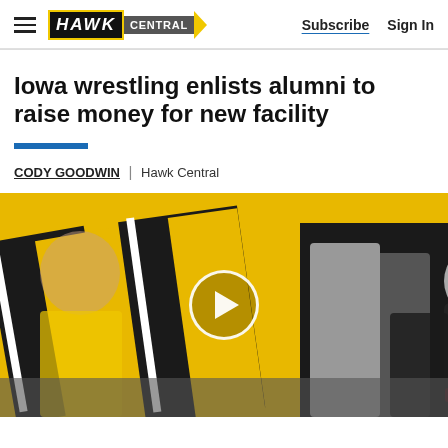HAWK CENTRAL | Subscribe  Sign In
Iowa wrestling enlists alumni to raise money for new facility
CODY GOODWIN | Hawk Central
[Figure (photo): A man in a black Iowa t-shirt with a white towel over his shoulder stands in front of a yellow and black Iowa Hawkeyes branded wall. A video play button overlay is centered on the image.]